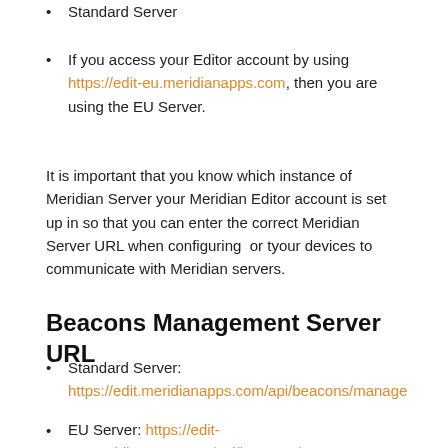Standard Server
If you access your Editor account by using https://edit-eu.meridianapps.com, then you are using the EU Server.
It is important that you know which instance of Meridian Server your Meridian Editor account is set up in so that you can enter the correct Meridian Server URL when configuring  or tyour devices to communicate with Meridian servers.
Beacons Management Server URL
Standard Server: https://edit.meridianapps.com/api/beacons/manage
EU Server: https://edit-eu.meridianapps.com/api/beacons/manage
Asset Tracking Server URL
Standard Server: